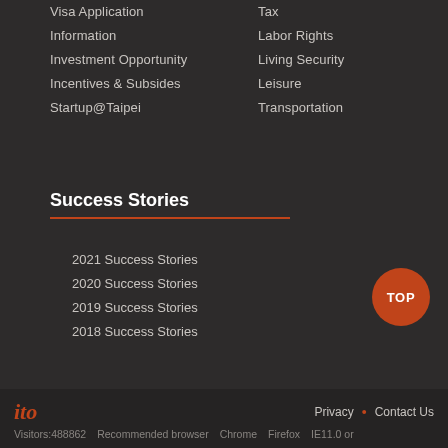Visa Application
Information
Investment Opportunity
Incentives & Subsides
Startup@Taipei
Tax
Labor Rights
Living Security
Leisure
Transportation
Success Stories
2021 Success Stories
2020 Success Stories
2019 Success Stories
2018 Success Stories
TOP
ito   Privacy • Contact Us   Visitors:488862　Recommended browser　Chrome　Firefox　IE11.0 or